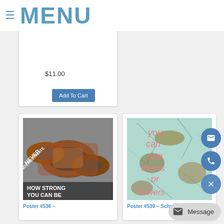≡ MENU
$11.00
Add To Cart
[Figure (photo): Poster showing rusty chains with text 'NEVER UNDERESTIMATE HOW STRONG YOU CAN BE']
Poster #536 –
[Figure (photo): Poster with cracked texture background and pink text: 'you can see thorns or flowers']
Poster #539 – School